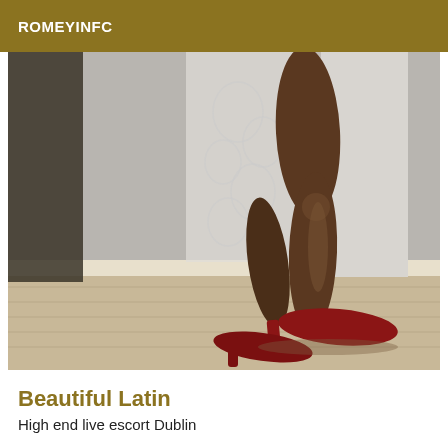ROMEYINFC
[Figure (photo): Close-up photo of a person's legs wearing red high heels, standing on a wooden floor in front of a white door with lace curtain]
Beautiful Latin
High end live escort Dublin